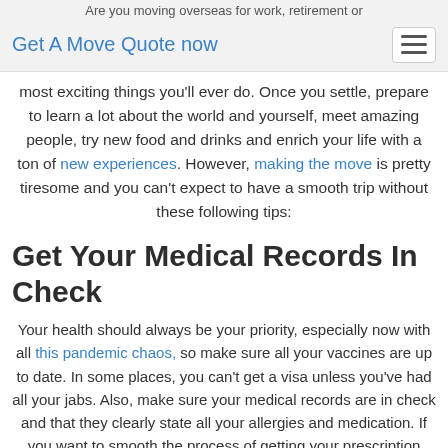Are you moving overseas for work, retirement or
Get A Move Quote now
most exciting things you'll ever do. Once you settle, prepare to learn a lot about the world and yourself, meet amazing people, try new food and drinks and enrich your life with a ton of new experiences. However, making the move is pretty tiresome and you can't expect to have a smooth trip without these following tips:
Get Your Medical Records In Check
Your health should always be your priority, especially now with all this pandemic chaos, so make sure all your vaccines are up to date. In some places, you can't get a visa unless you've had all your jabs. Also, make sure your medical records are in check and that they clearly state all your allergies and medication. If you want to smooth the process of getting your prescription meds, make sure to bring all your evidence of previous prescriptions.